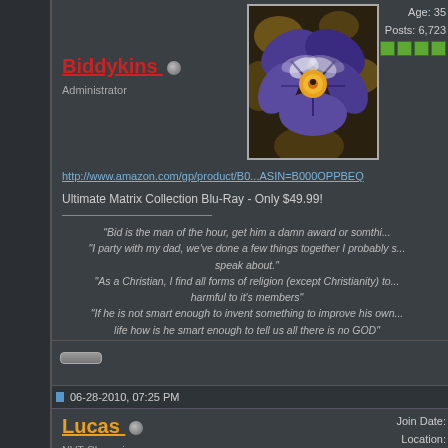Age: 35
Posts: 6,723
Biddykins
Administrator
[Figure (photo): Purple and white pansy flower close-up photo used as avatar]
http://www.amazon.com/gp/product/B0...ASIN=B000OPPBEQ
Ultimate Matrix Collection Blu-Ray - Only $49.99!
"Bid is the man of the hour, get him a damn award or somthi...
"I party with my dad, we've done a few things together I probably s...
speak about."
"As a Christian, I find all forms of religion (except Christianity) to...
harmful to it's members"
"If he is not smart enough to invent something to improve his own...
life how is he smart enough to tell us all there is no GOD"
06-28-2010, 07:25 PM
Join Date:
Location:
Age: 32
Posts: 2,1
Lucas
NVT Champion
Free domain (expires in 2 days): http://bit.ly/a9SNl4